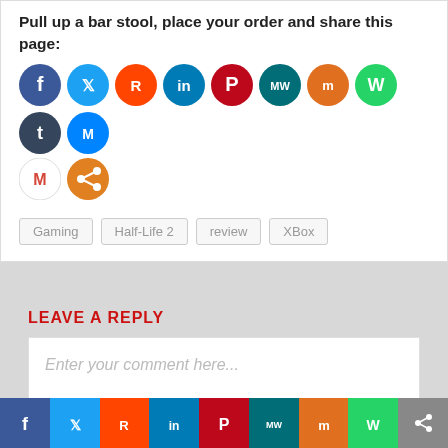Pull up a bar stool, place your order and share this page:
[Figure (infographic): Row of social media sharing icons (circular): Facebook, Twitter, Reddit, LinkedIn, Pinterest, MeWe, Mix, WhatsApp, Tumblr, Facebook Messenger, Gmail, Share]
Gaming
Half-Life 2
review
XBox
LEAVE A REPLY
Enter your comment here...
[Figure (infographic): Bottom navigation bar with social media icons: Facebook (blue), Twitter (light blue), Reddit (orange), LinkedIn (teal), Pinterest (dark red), MeWe (teal), Mix (orange), WhatsApp (green), Share (gray)]